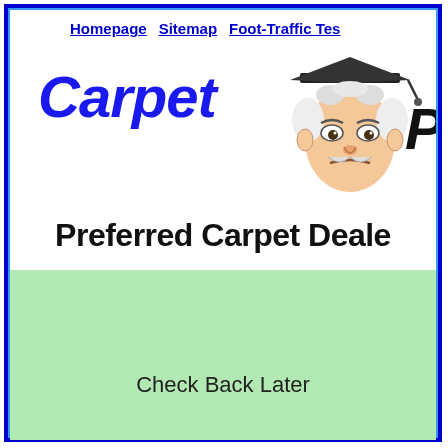Homepage   Sitemap   Foot-Traffic Tes
[Figure (logo): Carpet Professor logo: italic blue 'Carpet' text with cartoon Einstein face wearing graduation cap]
Preferred Carpet Deale
Check Back Later